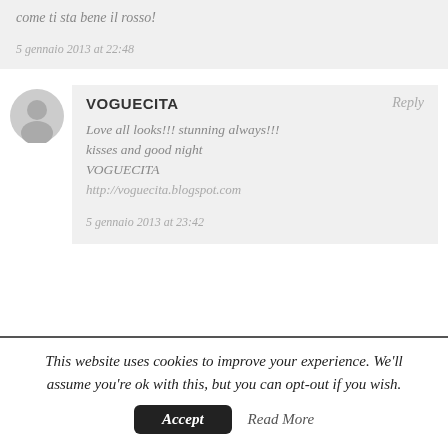come ti sta bene il rosso!
5 gennaio 2013 at 22:48
VOGUECITA
Reply
Love all looks!!! stunning always!!! kisses and good night VOGUECITA http://voguecita.blogspot.com
5 gennaio 2013 at 23:42
This website uses cookies to improve your experience. We'll assume you're ok with this, but you can opt-out if you wish.
Accept
Read More